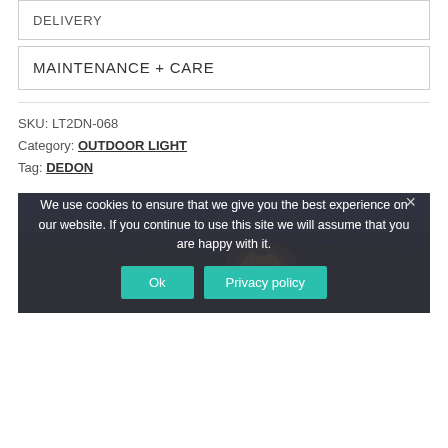DELIVERY
MAINTENANCE + CARE
SKU: LT2DN-068
Category: OUTDOOR LIGHT
Tag: DEDON
[Figure (photo): Outdoor glowing wicker lantern lamp at dusk against dark blue sky with trees in background]
We use cookies to ensure that we give you the best experience on our website. If you continue to use this site we will assume that you are happy with it.